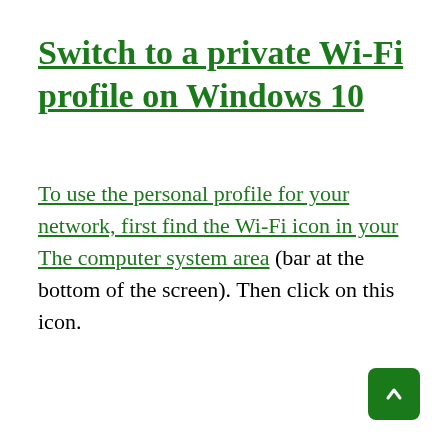Switch to a private Wi-Fi profile on Windows 10
To use the personal profile for your network, first find the Wi-Fi icon in your The computer system area (bar at the bottom of the screen). Then click on this icon.